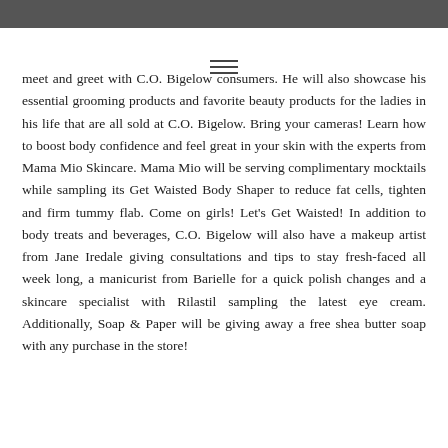meet and greet with C.O. Bigelow consumers. He will also showcase his essential grooming products and favorite beauty products for the ladies in his life that are all sold at C.O. Bigelow. Bring your cameras! Learn how to boost body confidence and feel great in your skin with the experts from Mama Mio Skincare. Mama Mio will be serving complimentary mocktails while sampling its Get Waisted Body Shaper to reduce fat cells, tighten and firm tummy flab. Come on girls! Let's Get Waisted! In addition to body treats and beverages, C.O. Bigelow will also have a makeup artist from Jane Iredale giving consultations and tips to stay fresh-faced all week long, a manicurist from Barielle for a quick polish changes and a skincare specialist with Rilastil sampling the latest eye cream. Additionally, Soap & Paper will be giving away a free shea butter soap with any purchase in the store!